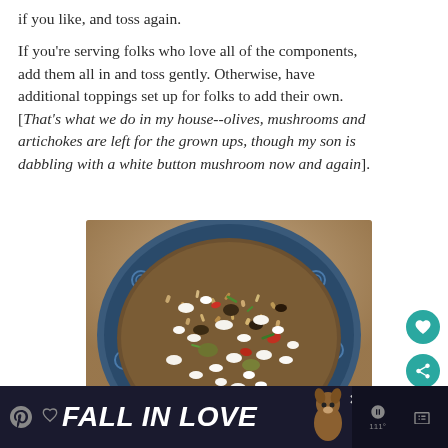if you like, and toss again.
If you're serving folks who love all of the components, add them all in and toss gently. Otherwise, have additional toppings set up for folks to add their own. [That's what we do in my house--olives, mushrooms and artichokes are left for the grown ups, though my son is dabbling with a white button mushroom now and again].
[Figure (photo): Close-up overhead photo of a decorative blue-patterned bowl filled with a grain salad topped with crumbled white feta cheese, green onions, red peppers, olives, mushrooms, and artichokes.]
[Figure (other): Advertisement banner reading FALL IN LOVE with a dog illustration, close button, and app navigation icons.]